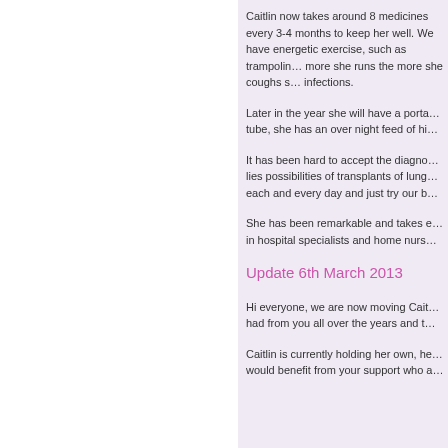Caitlin now takes around 8 medicines every 3-4 months to keep her well. We have energetic exercise, such as trampolin... more she runs the more she coughs s... infections.
Later in the year she will have a porta... tube, she has an over night feed of hi...
It has been hard to accept the diagno... lies possibilities of transplants of lung... each and every day and just try our b...
She has been remarkable and takes e... in hospital specialists and home nurs...
Update 6th March 2013
Hi everyone, we are now moving Cait... had from you all over the years and t...
Caitlin is currently holding her own, he... would benefit from your support who a...